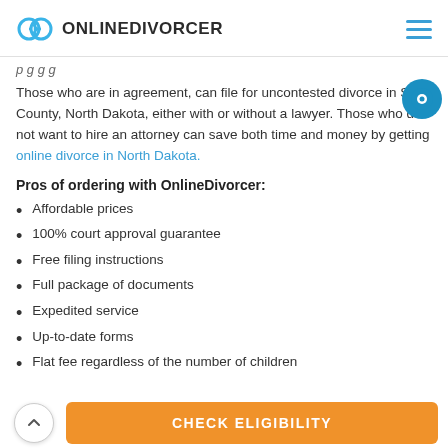ONLINEDIVORCER
…page heading/navigation text (partially visible)…
Those who are in agreement, can file for uncontested divorce in Stark County, North Dakota, either with or without a lawyer. Those who do not want to hire an attorney can save both time and money by getting online divorce in North Dakota.
Pros of ordering with OnlineDivorcer:
Affordable prices
100% court approval guarantee
Free filing instructions
Full package of documents
Expedited service
Up-to-date forms
Flat fee regardless of the number of children